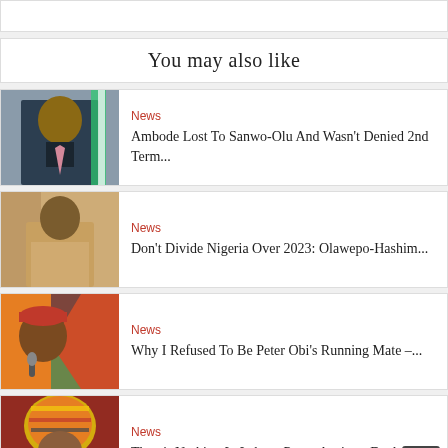You may also like
[Figure (photo): Portrait of a man in a dark suit with a pink tie, Nigerian flag in background]
News
Ambode Lost To Sanwo-Olu And Wasn't Denied 2nd Term...
[Figure (photo): Portrait of a man in a light-colored traditional Nigerian outfit]
News
Don't Divide Nigeria Over 2023: Olawepo-Hashim...
[Figure (photo): Portrait of a man wearing a red traditional cap, speaking into a microphone, colorful background]
News
Why I Refused To Be Peter Obi's Running Mate –...
[Figure (photo): Portrait of a woman wearing a colorful gele headwrap, smiling]
News
There's Nothing In Labour Party, Aspirant Declared...